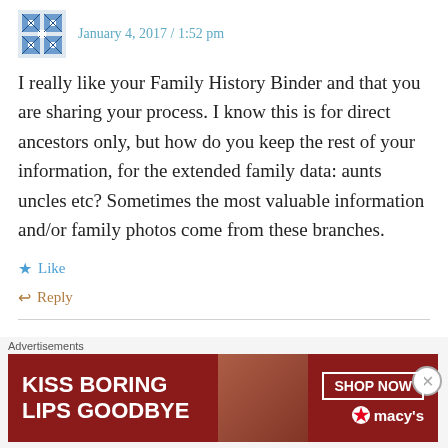January 4, 2017 / 1:52 pm
I really like your Family History Binder and that you are sharing your process. I know this is for direct ancestors only, but how do you keep the rest of your information, for the extended family data: aunts uncles etc? Sometimes the most valuable information and/or family photos come from these branches.
Like
Reply
JESSARONI
January 4, 2017 / 3:02 pm
[Figure (infographic): Macy's advertisement: KISS BORING LIPS GOODBYE with SHOP NOW button and Macy's logo]
Advertisements